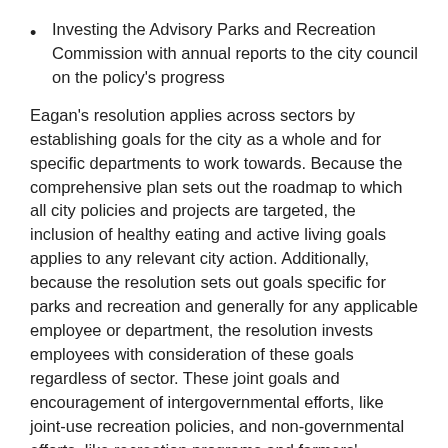Investing the Advisory Parks and Recreation Commission with annual reports to the city council on the policy's progress
Eagan's resolution applies across sectors by establishing goals for the city as a whole and for specific departments to work towards. Because the comprehensive plan sets out the roadmap to which all city policies and projects are targeted, the inclusion of healthy eating and active living goals applies to any relevant city action. Additionally, because the resolution sets out goals specific for parks and recreation and generally for any applicable employee or department, the resolution invests employees with consideration of these goals regardless of sector. These joint goals and encouragement of intergovernmental efforts, like joint-use recreation policies, and non-governmental efforts, like recreation programs and farmers' markets, all encourage cooperation across sectors.
Accountability
Eagan's city council utilized their Advisory Parks and